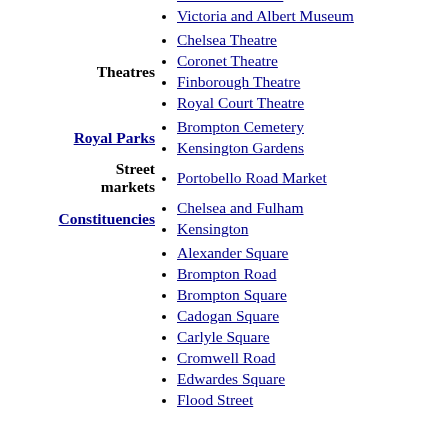Saatchi Gallery
Science Museum
Victoria and Albert Museum
Theatres
Chelsea Theatre
Coronet Theatre
Finborough Theatre
Royal Court Theatre
Royal Parks
Brompton Cemetery
Kensington Gardens
Street markets
Portobello Road Market
Constituencies
Chelsea and Fulham
Kensington
Alexander Square
Brompton Road
Brompton Square
Cadogan Square
Carlyle Square
Cromwell Road
Edwardes Square
Flood Street